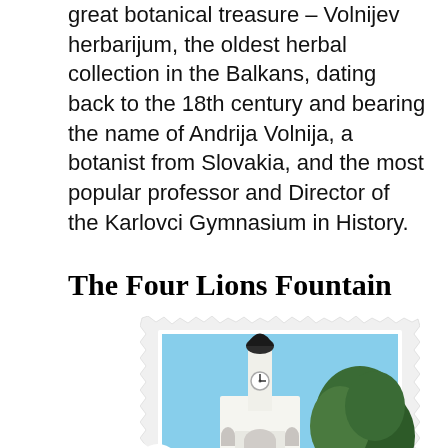great botanical treasure – Volnijev herbarijum, the oldest herbal collection in the Balkans, dating back to the 18th century and bearing the name of Andrija Volnija, a botanist from Slovakia, and the most popular professor and Director of the Karlovci Gymnasium in History.
The Four Lions Fountain
[Figure (photo): A photograph of a church tower with a clock face, surrounded by green trees against a blue sky, displayed in a polaroid-style frame with jagged/torn borders. A cloud-shaped speech bubble at bottom left contains the text 'THE FOUNTAIN IS CONNECTED']